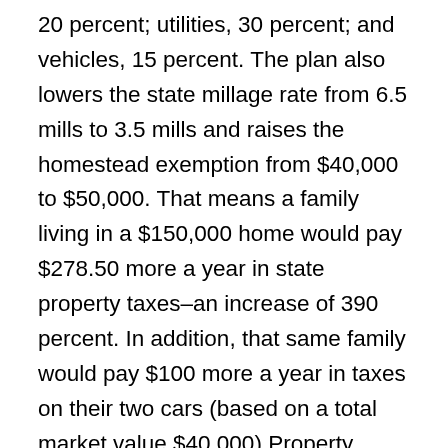20 percent; utilities, 30 percent; and vehicles, 15 percent. The plan also lowers the state millage rate from 6.5 mills to 3.5 mills and raises the homestead exemption from $40,000 to $50,000. That means a family living in a $150,000 home would pay $278.50 more a year in state property taxes–an increase of 390 percent. In addition, that same family would pay $100 more a year in taxes on their two cars (based on a total market value $40,000).Property taxes, however, account for less than half of Riley's total tax package. He expects changes to state income tax laws to generate an additional $421 million.State Finance Director Drayton Nabers Jr. said these changes could reduce the state income tax bill for a family of four with an annual income of $70,000 by as much as $150 a year. However, the plan's elimination of all income tax